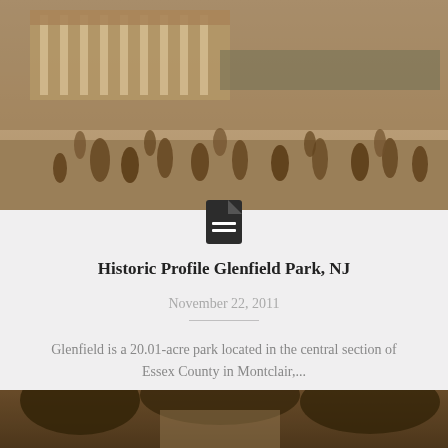[Figure (photo): Sepia-toned historical photograph of people (children and adults) gathered in a park setting with a columned pavilion structure in the background]
Historic Profile Glenfield Park, NJ
November 22, 2011
Glenfield is a 20.01-acre park located in the central section of Essex County in Montclair,...
READ MORE
[Figure (photo): Sepia-toned historical photograph showing trees and a structure, partially visible at the bottom of the page]